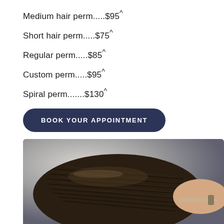Medium hair perm.....$95^
Short hair perm.....$75^
Regular perm.....$85^
Custom perm.....$95^
Spiral perm.......$130^
BOOK YOUR APPOINTMENT
[Figure (photo): Close-up photo of a person's hair being styled/permed by a stylist using a comb or tool, viewed from above.]